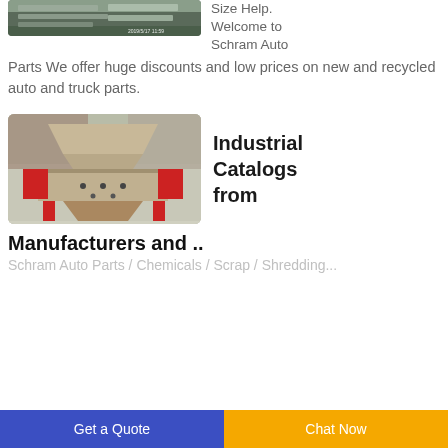[Figure (photo): Photo of metal parts/steel bars in a warehouse, timestamp 2019/5/17 11:59]
Size Help. Welcome to Schram Auto Parts We offer huge discounts and low prices on new and recycled auto and truck parts.
[Figure (photo): Photo of an industrial shredder machine with red base and beige hopper]
Industrial Catalogs from
Manufacturers and ..
Schram Auto Parts / Chemicals / Scrap / Shredding...
Get a Quote
Chat Now